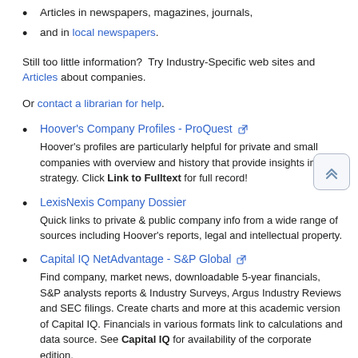Articles in newspapers, magazines, journals,
and in local newspapers.
Still too little information?  Try Industry-Specific web sites and Articles about companies.
Or contact a librarian for help.
Hoover's Company Profiles - ProQuest
Hoover's profiles are particularly helpful for private and small companies with overview and history that provide insights into strategy. Click Link to Fulltext for full record!
LexisNexis Company Dossier
Quick links to private & public company info from a wide range of sources including Hoover's reports, legal and intellectual property.
Capital IQ NetAdvantage - S&P Global
Find company, market news, downloadable 5-year financials, S&P analysts reports & Industry Surveys, Argus Industry Reviews and SEC filings. Create charts and more at this academic version of Capital IQ. Financials in various formats link to calculations and data source. See Capital IQ for availability of the corporate edition.
See these tips for finding company and industry information in